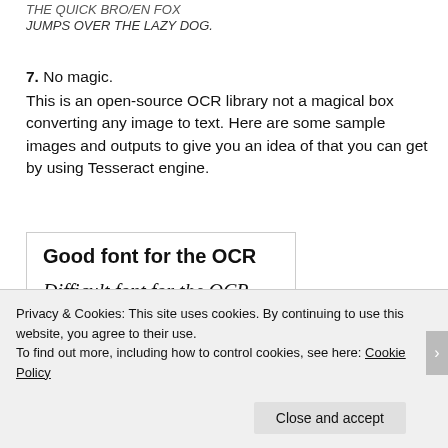THE QUICK BRO/EN FOX
JUMPS OVER THE LAZY DOG.
7. No magic. This is an open-source OCR library not a magical box converting any image to text. Here are some sample images and outputs to give you an idea of that you can get by using Tesseract engine.
[Figure (other): Box showing three font samples: 'Good font for the OCR' in bold Arial, 'Difficult font for the OCR' in italic serif, 'Too small font for OCR' in small monospace]
Privacy & Cookies: This site uses cookies. By continuing to use this website, you agree to their use.
To find out more, including how to control cookies, see here: Cookie Policy
Close and accept